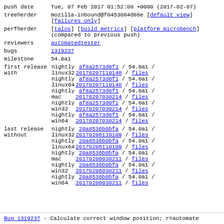| push date | Tue, 07 Feb 2017 01:52:08 +0000 (2017-02-07) |
| treeherder | mozilla-inbound@f0453084d86e [default view] [failures only] |
| perfherder | [talos] [build metrics] [platform microbench] (compared to previous push) |
| reviewers | automatedtester |
| bugs | 1319237 |
| milestone | 54.0a1 |
| first release with | nightly linux32 / af8a2573d0f1 / 54.0a1 / 20170207110148 / files
nightly linux64 / af8a2573d0f1 / 54.0a1 / 20170207110148 / files
nightly mac / af8a2573d0f1 / 54.0a1 / 20170207030214 / files
nightly win32 / af8a2573d0f1 / 54.0a1 / 20170207030214 / files
nightly win64 / af8a2573d0f1 / 54.0a1 / 20170207030214 / files |
| last release without | nightly linux32 / 20a8536b0bfa / 54.0a1 / 20170206110109 / files
nightly linux64 / 20a8536b0bfa / 54.0a1 / 20170206110109 / files
nightly mac / 20a8536b0bfa / 54.0a1 / 20170206030211 / files
nightly win32 / 20a8536b0bfa / 54.0a1 / 20170206030211 / files
nightly win64 / 20a8536b0bfa / 54.0a1 / 20170206030211 / files |
Bug 1319237 - Calculate correct window position; r=automate